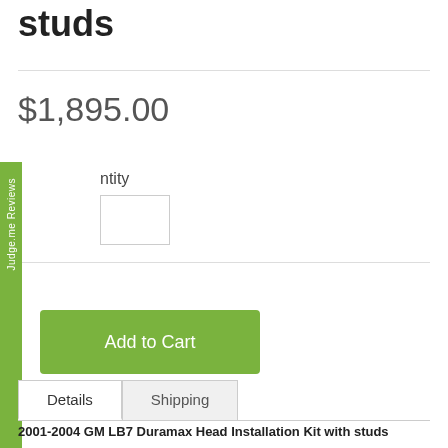studs
$1,895.00
ntity
Add to Cart
Judge.me Reviews
Details
Shipping
2001-2004 GM LB7 Duramax Head Installation Kit with studs